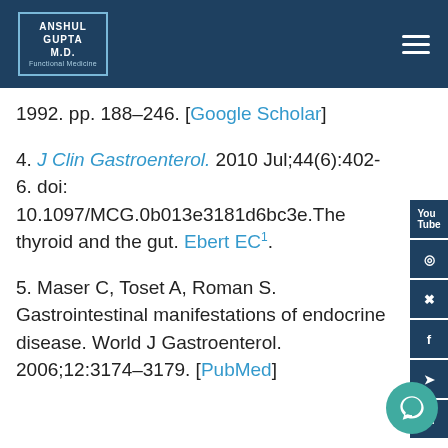Anshul Gupta M.D. Functional Medicine
1992. pp. 188–246. [Google Scholar]
4. J Clin Gastroenterol. 2010 Jul;44(6):402-6. doi: 10.1097/MCG.0b013e3181d6bc3e. The thyroid and the gut. Ebert EC¹.
5. Maser C, Toset A, Roman S. Gastrointestinal manifestations of endocrine disease. World J Gastroenterol. 2006;12:3174–3179. [PubMed]